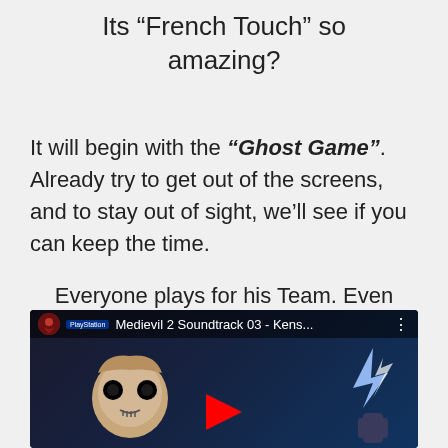Its “French Touch” so amazing?
It will begin with the “Ghost Game”. Already try to get out of the screens, and to stay out of sight, we’ll see if you can keep the time.
Everyone plays for his Team. Even when you feel like playing solo.
[Figure (screenshot): YouTube video thumbnail for 'Medievil 2 Soundtrack 03 - Kens...' with PlayStation branding, a skull character, and a lightning character on a dark background. A red play button is visible.]